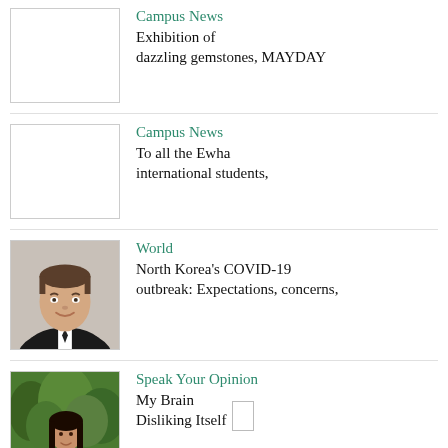Campus News  Exhibition of dazzling gemstones, MAYDAY
Campus News  To all the Ewha international students,
[Figure (photo): Headshot of a young man in a suit and tie, smiling, against a white background]
World  North Korea's COVID-19 outbreak: Expectations, concerns,
[Figure (photo): Photo of a young woman in a dark top standing outdoors among green trees]
Speak Your Opinion  My Brain Disliking Itself